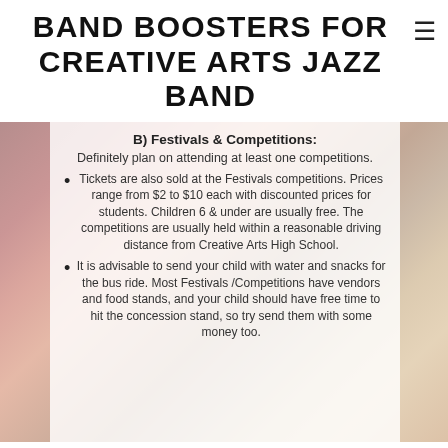BAND BOOSTERS FOR CREATIVE ARTS JAZZ BAND
B) Festivals & Competitions:
Definitely plan on attending at least one competitions.
Tickets are also sold at the Festivals competitions. Prices range from $2 to $10 each with discounted prices for students. Children 6 & under are usually free. The competitions are usually held within a reasonable driving distance from Creative Arts High School.
It is advisable to send your child with water and snacks for the bus ride. Most Festivals /Competitions have vendors and food stands, and your child should have free time to hit the concession stand, so try send them with some money too.